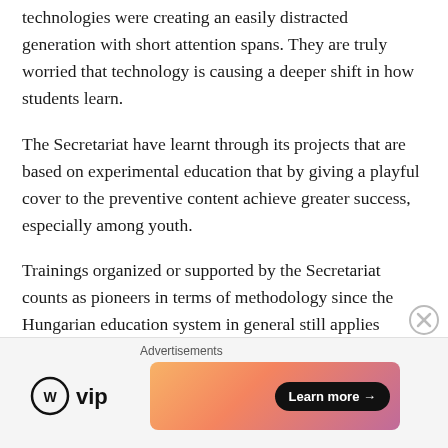technologies were creating an easily distracted generation with short attention spans. They are truly worried that technology is causing a deeper shift in how students learn.
The Secretariat have learnt through its projects that are based on experimental education that by giving a playful cover to the preventive content achieve greater success, especially among youth.
Trainings organized or supported by the Secretariat counts as pioneers in terms of methodology since the Hungarian education system in general still applies traditional, frontal teaching approaches. Traditionally, students have most often been rewarded for competing rather than cooperating with one another. Teachers are not often called upon for collaborative work either. Teaching has traditionally been an activity carried out in isolation from
[Figure (infographic): Advertisement bar with WordPress VIP logo and a colorful gradient banner with 'Learn more' button]